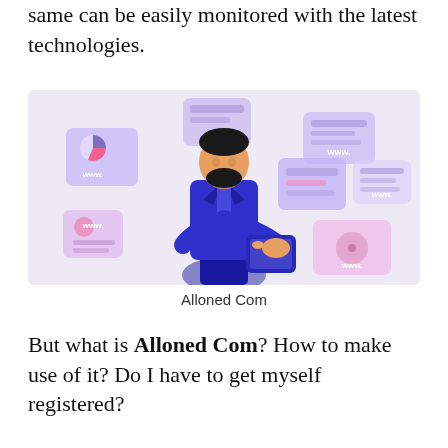same can be easily monitored with the latest technologies.
[Figure (illustration): Illustration of a man in a blue suit holding a tablet, surrounded by floating UI cards showing www. labels, charts, chat bubbles, and icons on a light purple background. The image represents digital/web technology monitoring.]
Alloned Com
But what is Alloned Com? How to make use of it? Do I have to get myself registered?
...